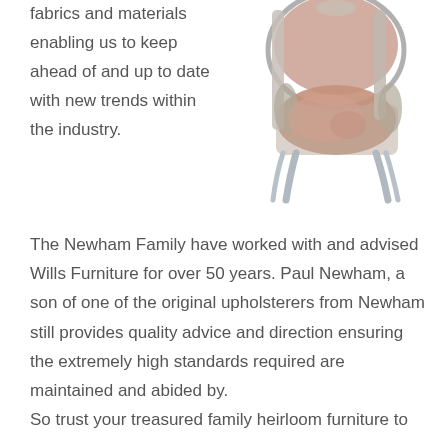fabrics and materials enabling us to keep ahead of and up to date with new trends within the industry.
[Figure (photo): A weathered antique armchair with ornate carved silver/white legs and a worn pink/salmon upholstered seat and back, photographed against a white background.]
The Newham Family have worked with and advised Wills Furniture for over 50 years. Paul Newham, a son of one of the original upholsterers from Newham still provides quality advice and direction ensuring the extremely high standards required are maintained and abided by.
So trust your treasured family heirloom furniture to